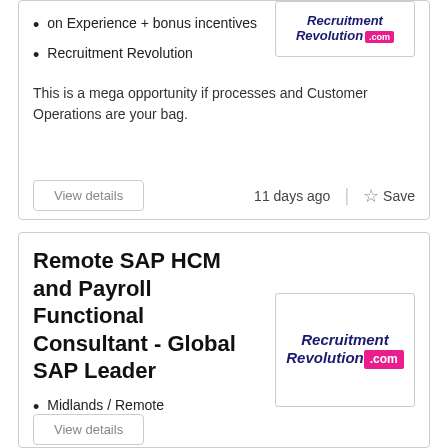on Experience + bonus incentives
Recruitment Revolution
This is a mega opportunity if processes and Customer Operations are your bag.
Remote SAP HCM and Payroll Functional Consultant - Global SAP Leader
Midlands / Remote
Up to £75,000
Recruitment Revolution
This is a fantastic opportunity for a SAP HCM and Payroll…